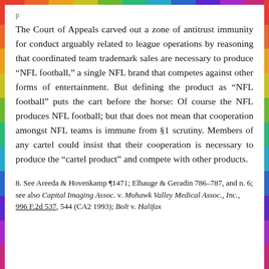p
The Court of Appeals carved out a zone of antitrust immunity for conduct arguably related to league operations by reasoning that coordinated team trademark sales are necessary to produce "NFL football," a single NFL brand that competes against other forms of entertainment. But defining the product as "NFL football" puts the cart before the horse: Of course the NFL produces NFL football; but that does not mean that cooperation amongst NFL teams is immune from §1 scrutiny. Members of any cartel could insist that their cooperation is necessary to produce the "cartel product" and compete with other products.
8. See Areeda & Hovenkamp ¶1471; Elhauge & Geradin 786–787, and n. 6; see also Capital Imaging Assoc. v. Mohawk Valley Medical Assoc., Inc., 996 F.2d 537, 544 (CA2 1993); Bolt v. Halifax